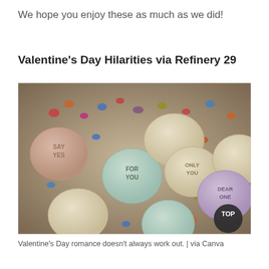We hope you enjoy these as much as we did!
Valentine's Day Hilarities via Refinery 29
[Figure (photo): Close-up photograph of Valentine's Day heart-shaped candy mints with embossed text including 'SAY YES', 'FOR YOU', 'ONLY YOU', 'DEAR ONE', surrounded by small colorful candies. Photo via Canva.]
Valentine's Day romance doesn't always work out. | via Canva